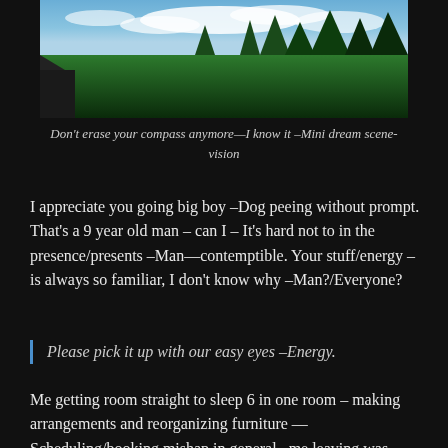[Figure (photo): Outdoor photo showing a blue sky with white clouds and green pine trees, with what appears to be a roof or structure visible at the lower left. Dark background surrounding the image.]
Don't erase your compass anymore—I know it –Mini dream scene-vision
I appreciate you going big boy –Dog peeing without prompt. That's a 9 year old man – can I – It's hard not to in the presence/presents –Man—contemptible. Your stuff/energy – is always so familiar, I don't know why –Man?/Everyone?
Please pick it up with our easy eyes –Energy.
Me getting room straight to sleep 6 in one room – making arrangements and reorganizing furniture —Scheduling/booking mishap in general –me leaving was before this –[planned] – This was my